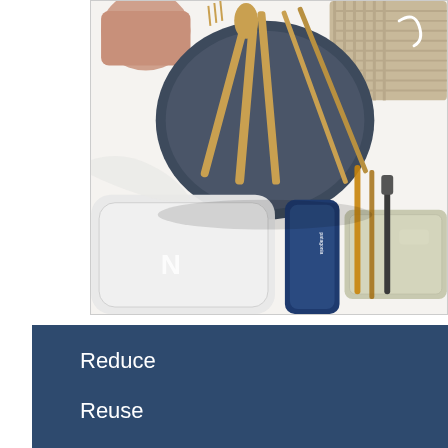[Figure (photo): Overhead photo of eco-friendly reusable items on a white surface: bamboo utensils (fork, spoon, knife, chopsticks) on a dark round plate/lid, a white silicone bag with N logo, a blue Patagonia case, a cloth roll with glass straws and toothbrush, and a woven beige bag in the background.]
Reduce
Reuse